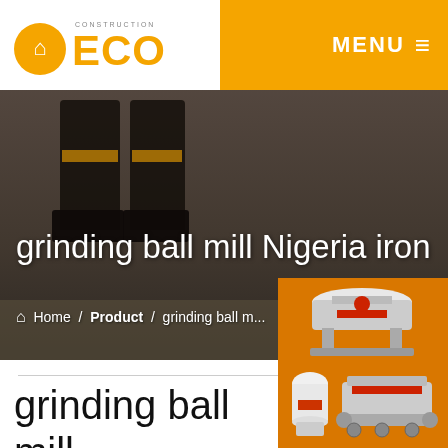[Figure (logo): ECO Construction logo with orange circle and building icon and orange ECO text]
MENU ≡
[Figure (photo): Background hero photo showing person's legs walking on industrial ground with orange safety vest]
grinding ball mill Nigeria iron
Home / Product / grinding ball m...
grinding ball mill Nigeria iron
Submit Demands Online And Ge...
[Figure (photo): Industrial machinery equipment photos on orange sidebar background]
Enjoy 3% discount
Click to Chat ✕
Enquiry